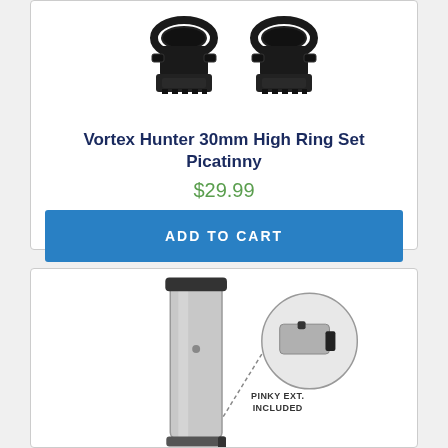[Figure (photo): Two black scope rings (Vortex Hunter 30mm High Ring Set Picatinny) photographed on white background]
Vortex Hunter 30mm High Ring Set Picatinny
$29.99
ADD TO CART
[Figure (photo): Silver pistol magazine with pinky extension included, close-up callout circle showing the pinky extension with text 'PINKY EXT. INCLUDED']